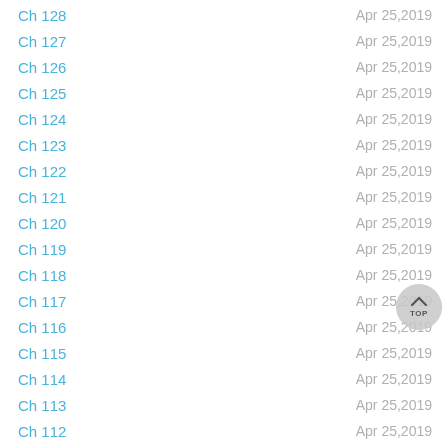Ch 128 Apr 25,2019
Ch 127 Apr 25,2019
Ch 126 Apr 25,2019
Ch 125 Apr 25,2019
Ch 124 Apr 25,2019
Ch 123 Apr 25,2019
Ch 122 Apr 25,2019
Ch 121 Apr 25,2019
Ch 120 Apr 25,2019
Ch 119 Apr 25,2019
Ch 118 Apr 25,2019
Ch 117 Apr 25,2019
Ch 116 Apr 25,2019
Ch 115 Apr 25,2019
Ch 114 Apr 25,2019
Ch 113 Apr 25,2019
Ch 112 Apr 25,2019
Ch 111 Apr 25,2019